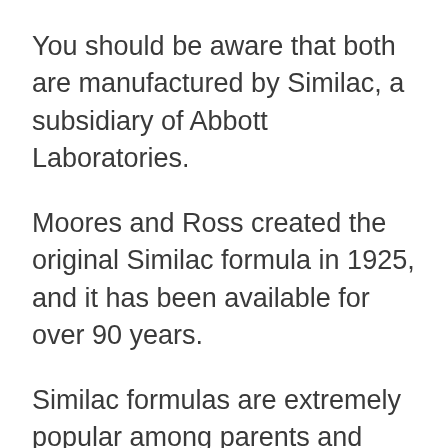You should be aware that both are manufactured by Similac, a subsidiary of Abbott Laboratories.
Moores and Ross created the original Similac formula in 1925, and it has been available for over 90 years.
Similac formulas are extremely popular among parents and newborns.
A short Amazon search reveals that all of their formulations are well-rated, with